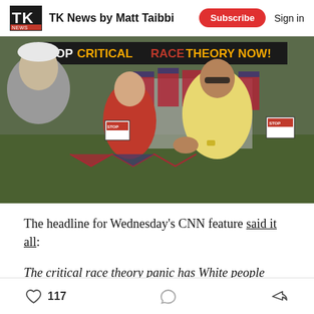TK News by Matt Taibbi  Subscribe  Sign in
[Figure (photo): Outdoor protest scene with people gathered, American flags, and a banner reading 'STOP CRITICAL RACE THEORY NOW!' A woman in a yellow outfit wearing sunglasses gestures while speaking, another woman in red stands nearby, and a man is partially visible on the left.]
The headline for Wednesday’s CNN feature said it all:
The critical race theory panic has White people afraid that they might be complicit in racism
117 (likes)  (comments)  (share)